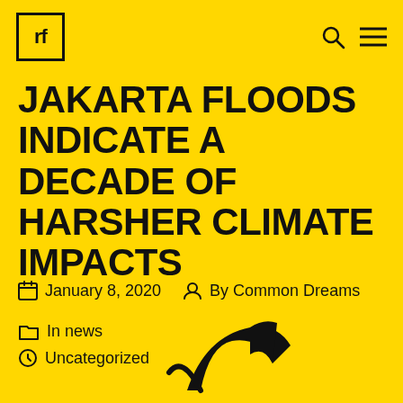rf
JAKARTA FLOODS INDICATE A DECADE OF HARSHER CLIMATE IMPACTS
January 8, 2020  By Common Dreams  In news  Uncategorized